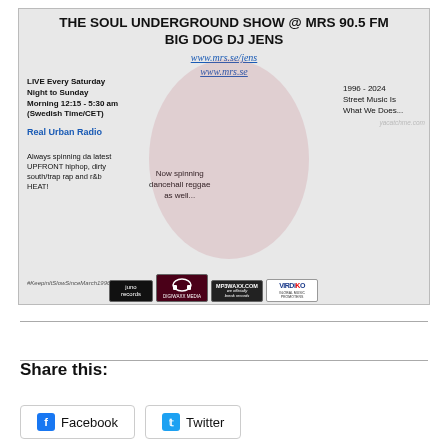[Figure (infographic): Promotional banner for The Soul Underground Show at MRS 90.5 FM featuring Big Dog DJ Jens, with a woman in pink outfit, website URLs, show times, and sponsor logos including Juno Records, Digiwaxx Media, MP3Waxx.com, and VirDiko.]
Share this:
Facebook
Twitter